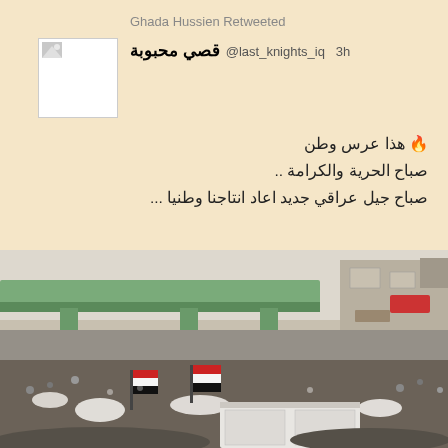Ghada Hussien Retweeted
قصي محبوبة @last_knights_iq 3h
[Figure (photo): Small profile avatar image placeholder with broken image icon]
هذا عرس وطن 🔥
صباح الحرية والكرامة ..
صباح جيل عراقي جديد اعاد انتاجنا وطنيا ...
[Figure (photo): Large crowd of protesters filling a street, with a green overpass bridge visible in the background and Iraqi flags being waved. Urban buildings visible on the right side.]